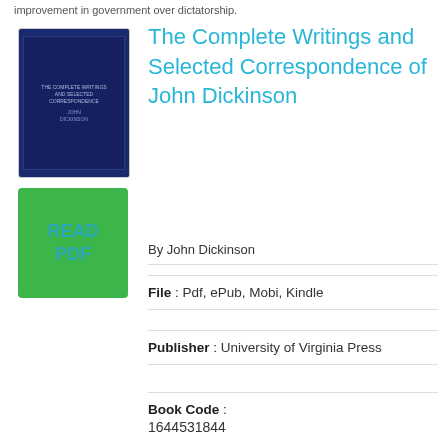improvement in government over dictatorship.
[Figure (illustration): Book cover thumbnail showing a dark navy blue book cover with small text]
[Figure (other): Green READ PDF button]
The Complete Writings and Selected Correspondence of John Dickinson
By John Dickinson
File : Pdf, ePub, Mobi, Kindle
Publisher : University of Virginia Press
Book Code : 1644531844